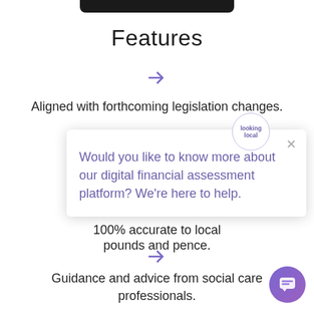[Figure (screenshot): Top portion of a mobile device bezel/bar visible at the top of the page]
Features
[Figure (other): Purple right arrow bullet point]
Aligned with forthcoming legislation changes.
[Figure (other): Purple right arrow bullet point]
Full digital form for fi...
100% accurate to local ... pounds and pence.
[Figure (other): Purple right arrow bullet point]
Guidance and advice from social care professionals.
[Figure (screenshot): A chat popup overlay with Looking Local logo, an X close button, and message: Would you like to know more about our digital financial assessment platform? We're here to help.]
[Figure (other): Purple gradient circular chat button in bottom right corner]